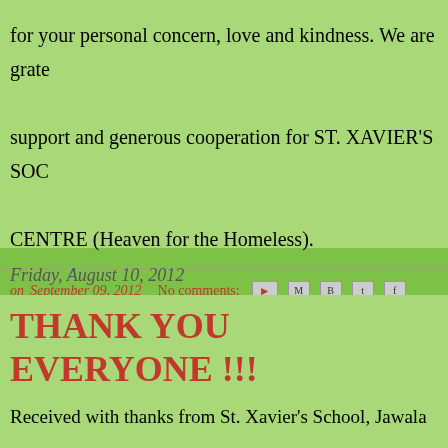for your personal concern, love and kindness. We are grate support and generous cooperation for ST. XAVIER'S SOC CENTRE (Heaven for the Homeless).
on September 09, 2012  No comments:
Friday, August 10, 2012
THANK YOU EVERYONE !!!
Received with thanks from St. Xavier's School, Jawala 2671, Eraser 870, Pencil 6360, Sharpener 730, Scale Geometry Box 26, Ball Pen 34, cello tape 11, Books 9